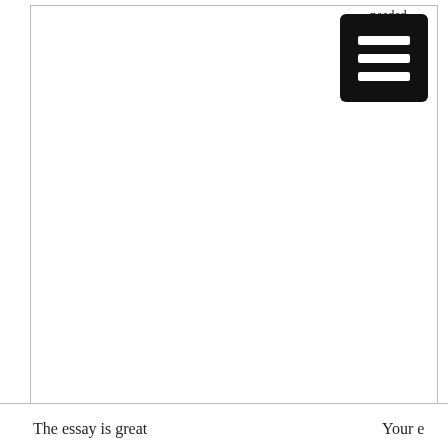needed ould one you're
[Figure (other): Black rounded rectangle menu/hamburger icon with three white horizontal bars]
The essay is great
Your e